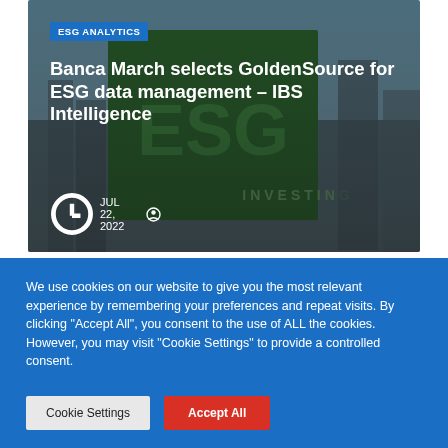[Figure (photo): Article card with ESG investing city skyline background image showing green ESG sign and skyscrapers]
Banca March selects GoldenSource for ESG data management – IBS Intelligence
JUL 22, 2022
[Figure (photo): Partially visible second article card with blue/teal image]
We use cookies on our website to give you the most relevant experience by remembering your preferences and repeat visits. By clicking "Accept All", you consent to the use of ALL the cookies. However, you may visit "Cookie Settings" to provide a controlled consent.
Cookie Settings
Accept All